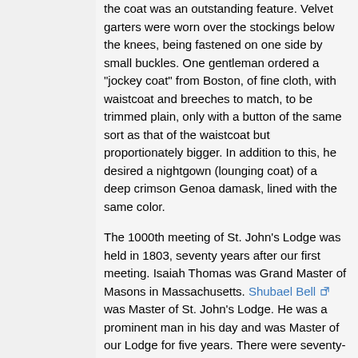the coat was an outstanding feature. Velvet garters were worn over the stockings below the knees, being fastened on one side by small buckles. One gentleman ordered a "jockey coat" from Boston, of fine cloth, with waistcoat and breeches to match, to be trimmed plain, only with a button of the same sort as that of the waistcoat but proportionately bigger. In addition to this, he desired a nightgown (lounging coat) of a deep crimson Genoa damask, lined with the same color.
The 1000th meeting of St. John's Lodge was held in 1803, seventy years after our first meeting. Isaiah Thomas was Grand Master of Masons in Massachusetts. Shubael Bell was Master of St. John's Lodge. He was a prominent man in his day and was Master of our Lodge for five years. There were seventy-nine Lodges in the Massachusetts Jurisdiction and at that time the membership in St. John's Lodge is estimated at 250. During the Lodge year, the Treaty transferring the extensive Louisiana Purchase area to the United States